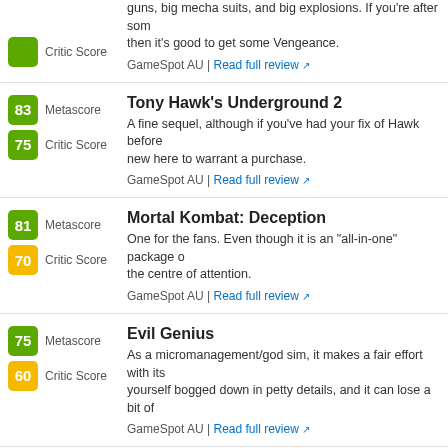Critic Score (partial top entry) | GameSpot AU | Read full review
83 Metascore / 75 Critic Score | Tony Hawk's Underground 2 | A fine sequel, although if you've had your fix of Hawk before new here to warrant a purchase. | GameSpot AU | Read full review
81 Metascore / 70 Critic Score | Mortal Kombat: Deception | One for the fans. Even though it is an "all-in-one" package of the centre of attention. | GameSpot AU | Read full review
75 Metascore / 60 Critic Score | Evil Genius | As a micromanagement/god sim, it makes a fair effort with its yourself bogged down in petty details, and it can lose a bit of | GameSpot AU | Read full review
65 Metascore / 60 Critic Score | Rocky: Legends | A solid but unspectacular boxing game that doesn't try enough championship status. | GameSpot AU | Read full review
Partial bottom entry (score badge visible)